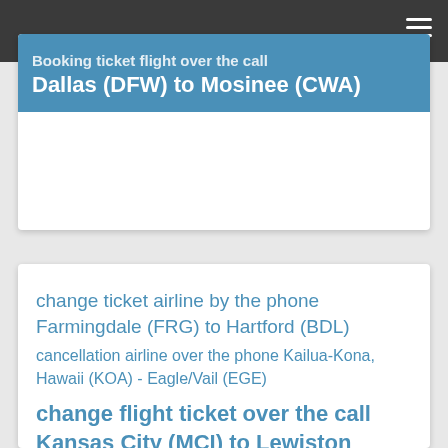≡
Booking ticket flight over the call Dallas (DFW) to Mosinee (CWA)
change ticket airline by the phone Farmingdale (FRG) to Hartford (BDL)
cancellation airline over the phone Kailua-Kona, Hawaii (KOA) - Eagle/Vail (EGE)
change flight ticket over the call Kansas City (MCI) to Lewiston